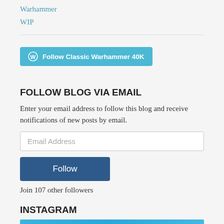Warhammer
WIP
[Figure (other): WordPress Follow button: 'Follow Classic Warhammer 40K']
FOLLOW BLOG VIA EMAIL
Enter your email address to follow this blog and receive notifications of new posts by email.
Email Address (input field)
Follow (button)
Join 107 other followers
INSTAGRAM
[Figure (photo): Instagram image — blue/teal background photo, partially visible]